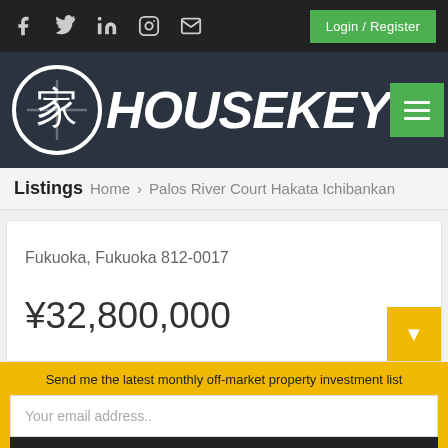Login/Register
[Figure (logo): HouseKey logo with Japanese kanji house character in circle and stylized HOUSEKEY text in italic bold white font on dark background]
Listings  Home  >  Palos River Court Hakata Ichibankan
Fukuoka, Fukuoka 812-0017
¥32,800,000
Send me the latest monthly off-market property investment list
Your email address..
SUBSCRIBE